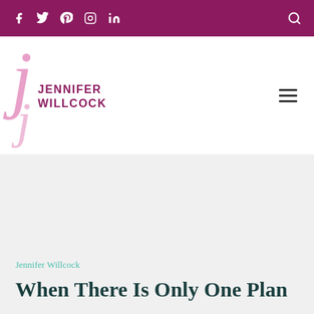f  t  p  instagram  in  [search]
[Figure (logo): Jennifer Willcock logo with stylized italic J in pink and bold purple text JENNIFER WILLCOCK]
Jennifer Willcock
When There Is Only One Plan